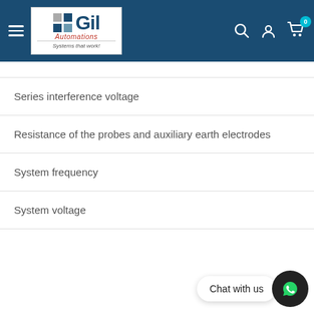Gil Automations — Systems that work!
Series interference voltage
Resistance of the probes and auxiliary earth electrodes
System frequency
System voltage